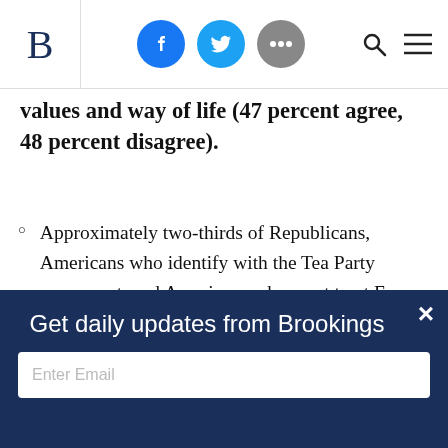Brookings Institution navigation bar with logo, social icons (Facebook, Twitter, More), search and menu
values and way of life (47 percent agree, 48 percent disagree).
Approximately two-thirds of Republicans, Americans who identify with the Tea Party movement, and Americans who most trust Fox News agree that the values of Islam are at odds with American values. A majority of Democrats, Independents, and those who most trust CNN or
Get daily updates from Brookings
Enter Email